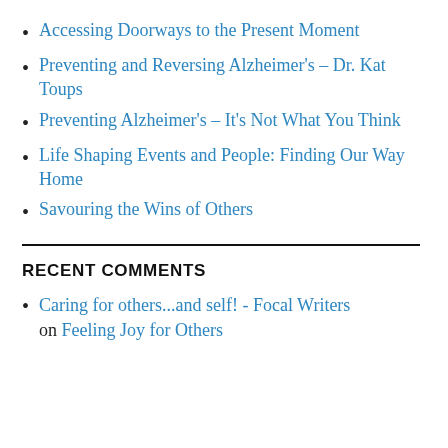Accessing Doorways to the Present Moment
Preventing and Reversing Alzheimer's – Dr. Kat Toups
Preventing Alzheimer's – It's Not What You Think
Life Shaping Events and People: Finding Our Way Home
Savouring the Wins of Others
RECENT COMMENTS
Caring for others...and self! - Focal Writers on Feeling Joy for Others